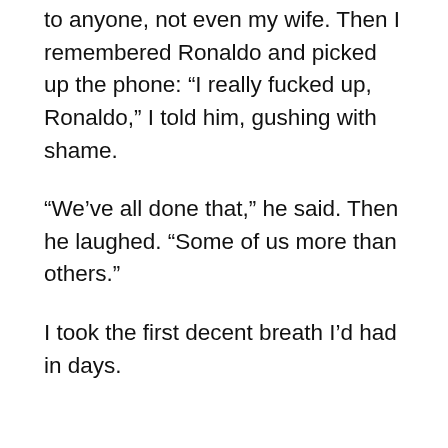to anyone, not even my wife. Then I remembered Ronaldo and picked up the phone: “I really fucked up, Ronaldo,” I told him, gushing with shame.
“We’ve all done that,” he said. Then he laughed. “Some of us more than others.”
I took the first decent breath I’d had in days.
Four or five days a week I call Ronaldo on my way to work. I talk to him more than I talk to anyone except my wife. He’s always in his office, his dog Lucky at his side, watching his stocks, reading the news, “organizing” his stacks of files and papers and magazines. One day he comes across Millie’s love